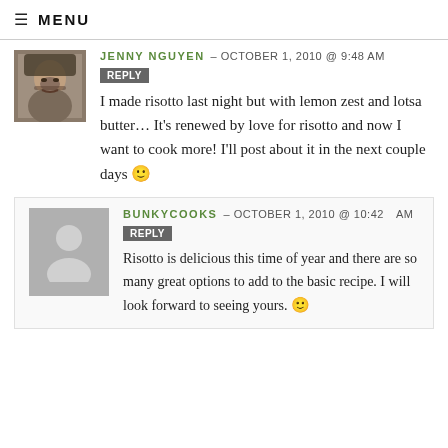≡ MENU
JENNY NGUYEN – OCTOBER 1, 2010 @ 9:48 AM  REPLY
I made risotto last night but with lemon zest and lotsa butter… It's renewed by love for risotto and now I want to cook more! I'll post about it in the next couple days 🙂
BUNKYCOOKS – OCTOBER 1, 2010 @ 10:42 AM  REPLY
Risotto is delicious this time of year and there are so many great options to add to the basic recipe. I will look forward to seeing yours. 🙂